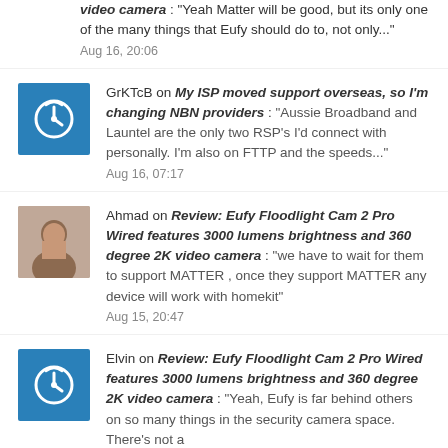video camera : “Yeah Matter will be good, but its only one of the many things that Eufy should do to, not only...” Aug 16, 20:06
GrKTcB on My ISP moved support overseas, so I’m changing NBN providers : “Aussie Broadband and Launtel are the only two RSP’s I’d connect with personally. I’m also on FTTP and the speeds...” Aug 16, 07:17
Ahmad on Review: Eufy Floodlight Cam 2 Pro Wired features 3000 lumens brightness and 360 degree 2K video camera : “we have to wait for them to support MATTER , once they support MATTER any device will work with homekit” Aug 15, 20:47
Elvin on Review: Eufy Floodlight Cam 2 Pro Wired features 3000 lumens brightness and 360 degree 2K video camera : “Yeah, Eufy is far behind others on so many things in the security camera space. There’s not a